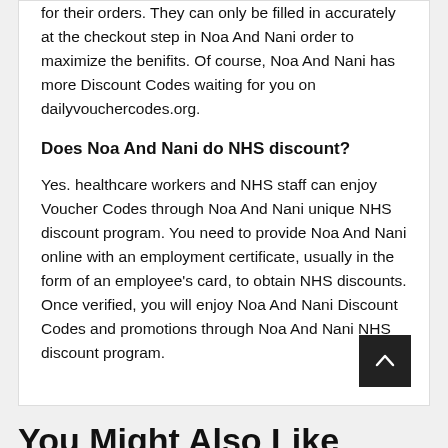for their orders. They can only be filled in accurately at the checkout step in Noa And Nani order to maximize the benifits. Of course, Noa And Nani has more Discount Codes waiting for you on dailyvouchercodes.org.
Does Noa And Nani do NHS discount?
Yes. healthcare workers and NHS staff can enjoy Voucher Codes through Noa And Nani unique NHS discount program. You need to provide Noa And Nani online with an employment certificate, usually in the form of an employee's card, to obtain NHS discounts. Once verified, you will enjoy Noa And Nani Discount Codes and promotions through Noa And Nani NHS discount program.
You Might Also Like These